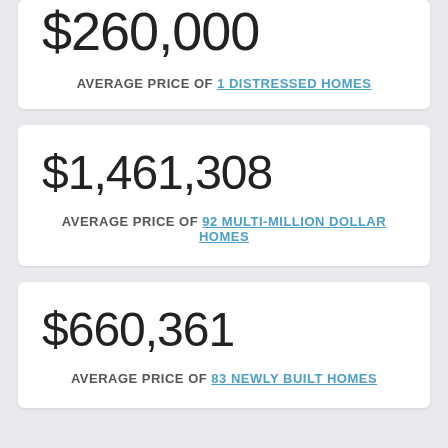$260,000
AVERAGE PRICE OF 1 DISTRESSED HOMES
$1,461,308
AVERAGE PRICE OF 92 MULTI-MILLION DOLLAR HOMES
$660,361
AVERAGE PRICE OF 83 NEWLY BUILT HOMES